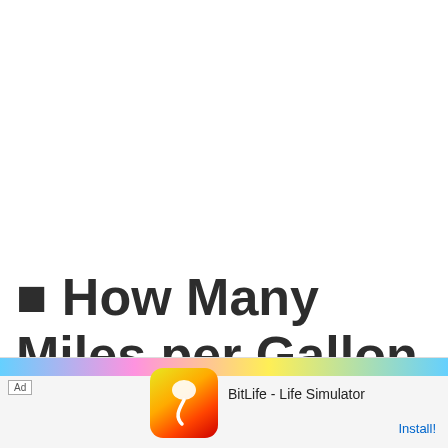⬛ How Many Miles per Gallon (MPG) Does a 2003 Chevrolet Van 1500/2500 2WD Get?
[Figure (other): Mobile advertisement banner for BitLife - Life Simulator app, showing app icon with sperm logo on red background, Ad label, app name, and Install button]